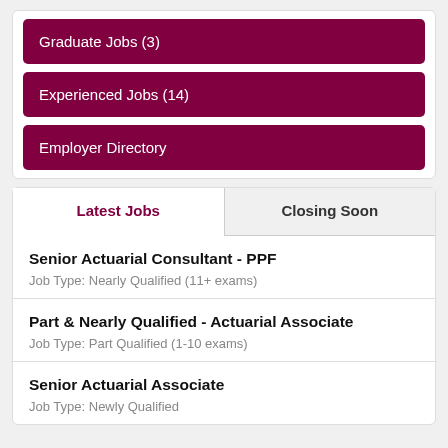Graduate Jobs (3)
Experienced Jobs (14)
Employer Directory
Latest Jobs
Closing Soon
Senior Actuarial Consultant - PPF
Job Type: Nearly Qualified (11+ exams)
Part & Nearly Qualified - Actuarial Associate
Job Type: Part Qualified (1-10 exams)
Senior Actuarial Associate
Job Type: Newly Qualified